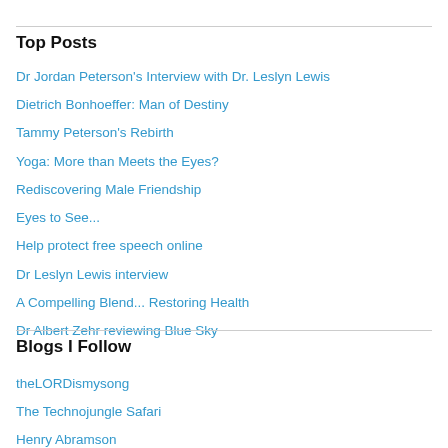Top Posts
Dr Jordan Peterson's Interview with Dr. Leslyn Lewis
Dietrich Bonhoeffer: Man of Destiny
Tammy Peterson's Rebirth
Yoga: More than Meets the Eyes?
Rediscovering Male Friendship
Eyes to See...
Help protect free speech online
Dr Leslyn Lewis interview
A Compelling Blend... Restoring Health
Dr Albert Zehr reviewing Blue Sky
Blogs I Follow
theLORDismysong
The Technojungle Safari
Henry Abramson